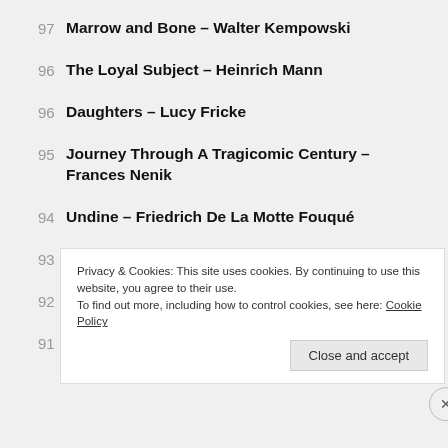97 Marrow and Bone – Walter Kempowski
96 The Loyal Subject – Heinrich Mann
96 Daughters – Lucy Fricke
95 Journey Through A Tragicomic Century – Frances Nenik
94 Undine – Friedrich De La Motte Fouqué
93 Porcelain – Durs Grünbein
92 Air Raid – Alexander Kluge
91 Gramsci's Fall – Nora Bossong
Privacy & Cookies: This site uses cookies. By continuing to use this website, you agree to their use.
To find out more, including how to control cookies, see here: Cookie Policy